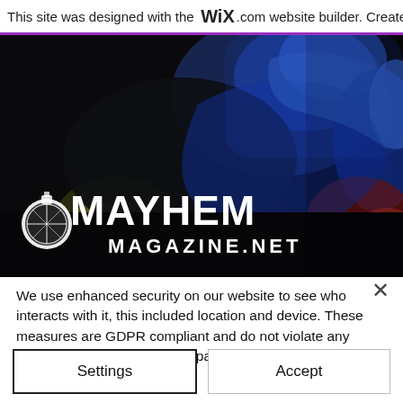This site was designed with the WiX.com website builder. Create yo
[Figure (photo): Dark action photo showing combat/martial arts figures with blue and red lighting, with the Mayhem Magazine logo overlay (grenade icon + MAYHEM MAGAZINE.NET text in white)]
We use enhanced security on our website to see who interacts with it, this included location and device. These measures are GDPR compliant and do not violate any privacy laws. By viewing this page, you agree to our use of such cookies. Privacy Policy
Settings
Accept